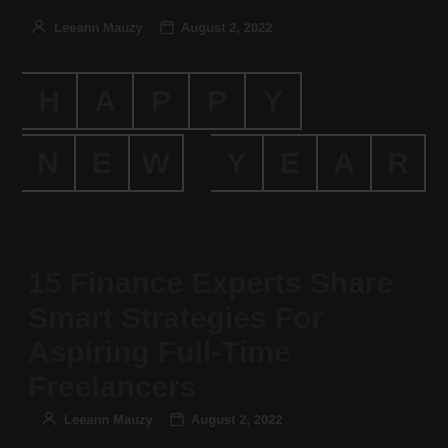Leeann Mauzy   August 2, 2022
[Figure (illustration): Happy New Year graphic with letters in bordered boxes arranged in two rows: HAPPY on top row and NEW YEAR on bottom row]
15 Finance Experts Share Smart Strategies For Aspiring Full-Time Freelancers
Leeann Mauzy   August 2, 2022